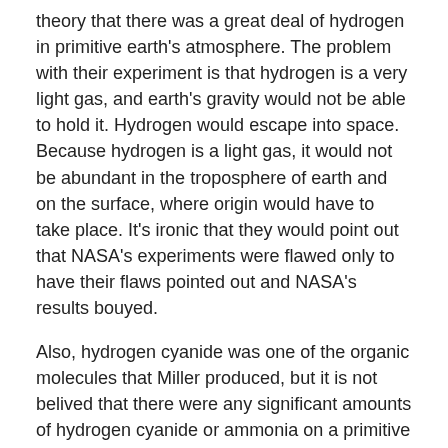theory that there was a great deal of hydrogen in primitive earth's atmosphere. The problem with their experiment is that hydrogen is a very light gas, and earth's gravity would not be able to hold it. Hydrogen would escape into space. Because hydrogen is a light gas, it would not be abundant in the troposphere of earth and on the surface, where origin would have to take place. It's ironic that they would point out that NASA's experiments were flawed only to have their flaws pointed out and NASA's results bouyed.
Also, hydrogen cyanide was one of the organic molecules that Miller produced, but it is not belived that there were any significant amounts of hydrogen cyanide or ammonia on a primitive earth.
Hydrothermal vents under water... This is what scientists have turned to as of late. The problem here is that too much heat destroys organic compounds, and too much cold will stymie chemical reactions, so there is only a narrow area between the warm and cold water where it would be suitable for chemical reactions to take place... The second problem is that chemical reactions tend not to like water... Water is the universal solvent and tends to dissolve, or rather, disassociate molecules from